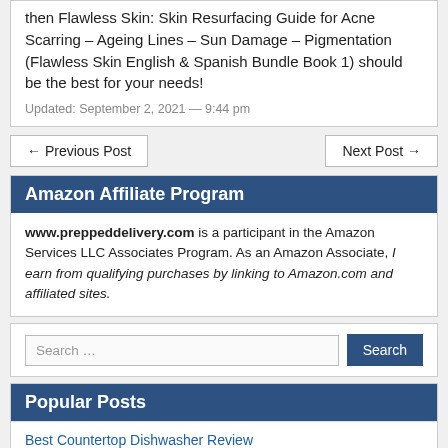then Flawless Skin: Skin Resurfacing Guide for Acne Scarring – Ageing Lines – Sun Damage – Pigmentation (Flawless Skin English & Spanish Bundle Book 1) should be the best for your needs!
Updated: September 2, 2021 — 9:44 pm
← Previous Post
Next Post →
Amazon Affiliate Program
www.preppeddelivery.com is a participant in the Amazon Services LLC Associates Program. As an Amazon Associate, I earn from qualifying purchases by linking to Amazon.com and affiliated sites.
Search …
Popular Posts
Best Countertop Dishwasher Review